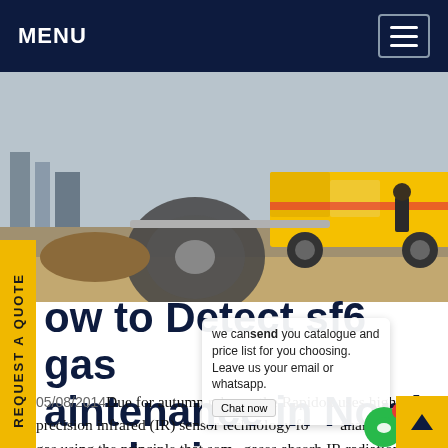MENU
[Figure (photo): Construction site scene with a yellow service truck parked on a road beside industrial infrastructure. A worker and large cable reel are visible in the foreground.]
we can send you catalogue and price list for you choosing. Leave us your email or whatsapp.
How to Detect sf6 gas maintenance in North Macedonia
05/08/2014Due for autumn release, the Rapidox uses high precision infrared (IR) sensor technology for the analysis of SF6 gas using the principle that some gases absorb IR radiation at specific wavelengths.